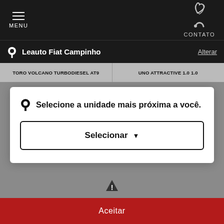MENU  CONTATO
Leauto Fiat Campinho  Alterar
TORO VOLCANO TURBODIESEL AT9  |  UNO ATTRACTIVE 1.0 1.0
Selecione a unidade mais próxima a você.
Selecionar ▾
Para otimizar sua experiência durante a navegação, fazemos uso de nossa Política de Privacidade. Ao seguir com a navegação e visita você concorda com nossas Políticas.
Aceitar